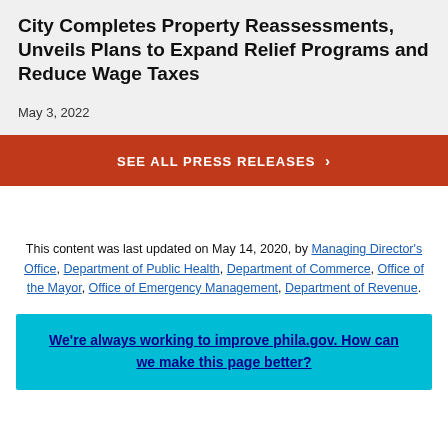City Completes Property Reassessments, Unveils Plans to Expand Relief Programs and Reduce Wage Taxes
May 3, 2022
SEE ALL PRESS RELEASES ›
This content was last updated on May 14, 2020, by Managing Director's Office, Department of Public Health, Department of Commerce, Office of the Mayor, Office of Emergency Management, Department of Revenue.
We're always working to improve phila.gov. How can we make this page better?